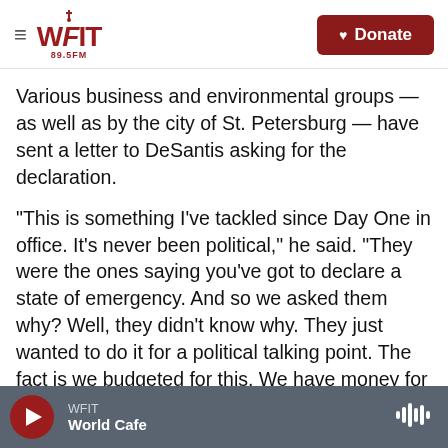WFIT 89.5FM | Donate
Various business and environmental groups — as well as by the city of St. Petersburg — have sent a letter to DeSantis asking for the declaration.
"This is something I've tackled since Day One in office. It's never been political," he said. "They were the ones saying you've got to declare a state of emergency. And so we asked them why? Well, they didn't know why. They just wanted to do it for a political talking point. The fact is we budgeted for this. We have money for this."
DeSantis said more than $2 million of it has been
WFIT | World Cafe